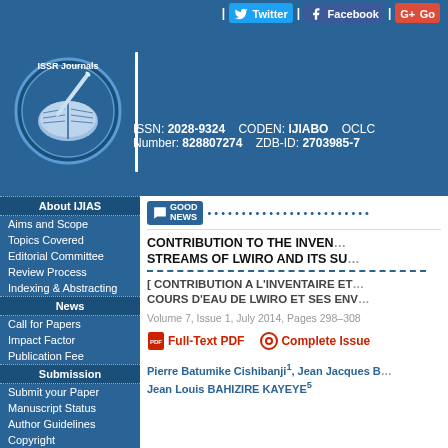Twitter | Facebook | G+
[Figure (logo): ISSR Journals logo — circular emblem with open book and pen on blue background]
ISSN: 2028-9324   CODEN: IJIABO   OCLC Number: 828807274   ZDB-ID: 2703985-7
About IJIAS
Aims and Scope
Topics Covered
Editorial Committee
Review Process
Indexing & Abstracting
News
Call for Papers
Impact Factor
Publication Fee
Submission
Submit your Paper
Manuscript Status
Author Guidelines
Copyright
Downloads
Sample Article
CONTRIBUTION TO THE INVENTORY OF STREAMS OF LWIRO AND ITS SURROUNDINGS
[ CONTRIBUTION A L'INVENTAIRE ET ... COURS D'EAU DE LWIRO ET SES ENVIRONS ]
Volume 7, Issue 1, July 2014, Pages 298–308
Full-Text PDF   Complete Issue
Pierre Batumike Cishibanji1, Jean Jacques B..., Jean Louis BAHIZIRE KAYEYE5